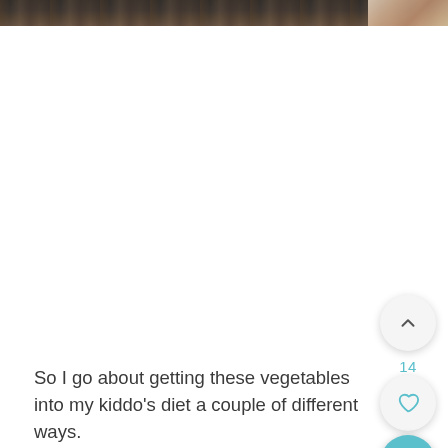[Figure (photo): Top strip of a photo showing dark/grilled food items, partially visible at the top edge of the page]
So I go about getting these vegetables into my kiddo's diet a couple of different ways.
First I try making vegetables in the most kid-friendly way possible. With dips. With cheese. With anything that will make it more enticing. But that doesn't